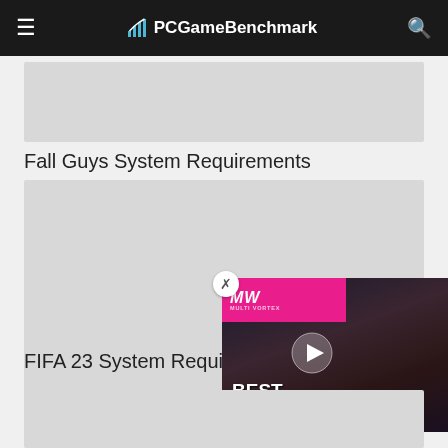PCGameBenchmark
[Figure (photo): Gray placeholder image box 1]
Fall Guys System Requirements
[Figure (photo): Gray placeholder image box 2]
FIFA 23 System Requirements
[Figure (screenshot): Video overlay: MW logo, play button, BEST ZOMBIE GAMES text over dark gaming image]
[Figure (photo): Gray placeholder image box 3]